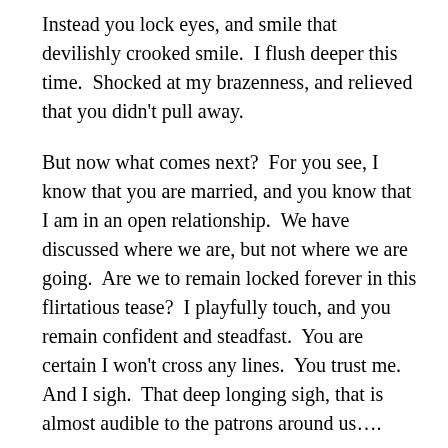Instead you lock eyes, and smile that devilishly crooked smile.  I flush deeper this time.  Shocked at my brazenness, and relieved that you didn't pull away.
But now what comes next?  For you see, I know that you are married, and you know that I am in an open relationship.  We have discussed where we are, but not where we are going.  Are we to remain locked forever in this flirtatious tease?  I playfully touch, and you remain confident and steadfast.  You are certain I won't cross any lines.  You trust me.  And I sigh.  That deep longing sigh, that is almost audible to the patrons around us….